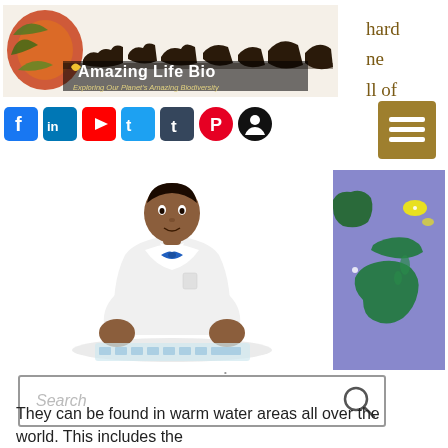[Figure (logo): Amazing Life Bio logo with animal silhouettes banner and text 'Exploring Our Planet's Amazing Biodiversity']
hard
ne
ll of
[Figure (infographic): Row of social media icons: Facebook, LinkedIn, YouTube, Twitter, Tumblr, Pinterest, and another Facebook-style icon]
[Figure (illustration): Hamburger menu button (three horizontal lines) on gold/brown background]
[Figure (illustration): 3D avatar character of a man in white lab coat with blue bow tie, sitting at a desk with a keyboard]
[Figure (map): Map showing Asia-Pacific region with purple ocean, green landmasses (Australia, Southeast Asia), and yellow highlighted area near Japan/East Asia]
[Figure (screenshot): Search box with placeholder text 'Search' and magnifying glass icon]
They can be found in warm water areas all over the world. This includes the